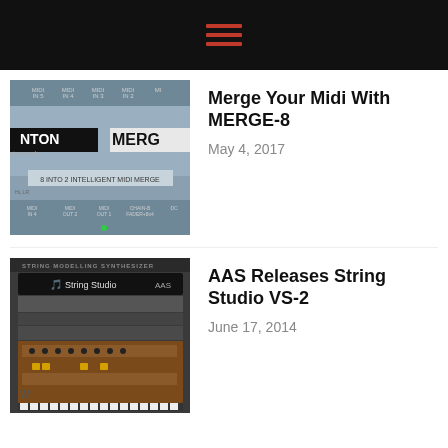[Figure (photo): Close-up photo of a MIDI hardware unit – NTON MERGE-8, 8 INTO 2 INTELLIGENT MIDI MERGE device showing input/output labels]
Merge Your Midi With MERGE-8
May 4, 2017
[Figure (screenshot): Screenshot of AAS String Studio VS-2 string modelling synthesizer plugin interface with String Studio header and brown/dark panel with knobs]
AAS Releases String Studio VS-2
June 17, 2014